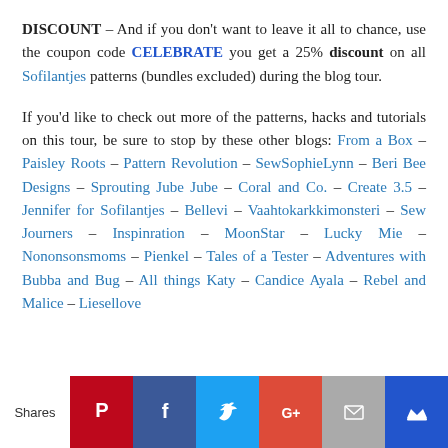DISCOUNT – And if you don't want to leave it all to chance, use the coupon code CELEBRATE you get a 25% discount on all Sofilantjes patterns (bundles excluded) during the blog tour.
If you'd like to check out more of the patterns, hacks and tutorials on this tour, be sure to stop by these other blogs: From a Box – Paisley Roots – Pattern Revolution – SewSophieLynn – Beri Bee Designs – Sprouting Jube Jube – Coral and Co. – Create 3.5 – Jennifer for Sofilantjes – Bellevi – Vaahtokarkkimonsteri – Sew Journers – Inspinration – MoonStar – Lucky Mie – Nononsonsmoms – Pienkel – Tales of a Tester – Adventures with Bubba and Bug – All things Katy – Candice Ayala – Rebel and Malice – Liesellove
[Figure (infographic): Social sharing bar with Pinterest, Facebook, Twitter, Google+, Email, and crown/bookmark buttons. 'Shares' label on the left.]